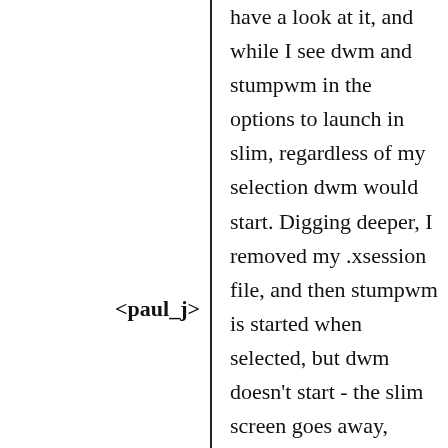have a look at it, and while I see dwm and stumpwm in the options to launch in slim, regardless of my selection dwm would start. Digging deeper, I removed my .xsession file, and then stumpwm is started when selected, but dwm doesn't start - the slim screen goes away,
<paul_j>
and then returns as you would see when the window manager is shut down. I find that there